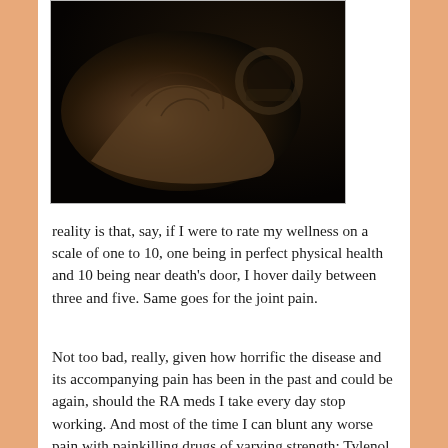[Figure (photo): Close-up dark photograph of an elderly person's hand, showing wrinkled skin and a watch in the background, against a dark background]
reality is that, say, if I were to rate my wellness on a scale of one to 10, one being in perfect physical health and 10 being near death's door, I hover daily between three and five. Same goes for the joint pain.
Not too bad, really, given how horrific the disease and its accompanying pain has been in the past and could be again, should the RA meds I take every day stop working. And most of the time I can blunt any worse pain with painkilling drugs of varying strength: Tylenol, tramadol and vicodin.
And yet … and yet.
I finally saw my rheumatologist yesterday. I'd had to